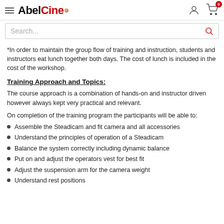AbelCine
Search...
*In order to maintain the group flow of training and instruction, students and instructors eat lunch together both days. The cost of lunch is included in the cost of the workshop.
Training Approach and Topics:
The course approach is a combination of hands-on and instructor driven however always kept very practical and relevant.
On completion of the training program the participants will be able to:
Assemble the Steadicam and fit camera and all accessories
Understand the principles of operation of a Steadicam
Balance the system correctly including dynamic balance
Put on and adjust the operators vest for best fit
Adjust the suspension arm for the camera weight
Understand rest positions